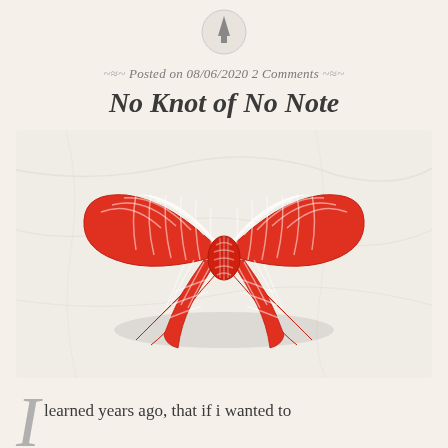[Figure (logo): Small circular icon with a tree/pine silhouette at the top center of the page]
Posted on 08/06/2020 2 Comments
No Knot of No Note
[Figure (photo): A red and white gingham/checkered fabric bow photographed on a white marble surface]
I learned years ago, that if i wanted to